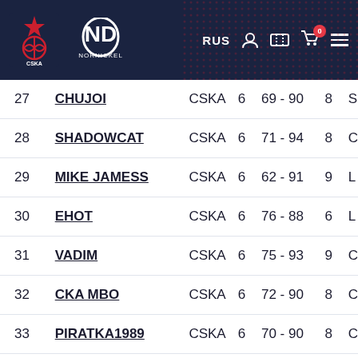[Figure (logo): CSKA Moscow website header with CSKA logo, Nornickel sponsor logo, RUS language selector, user icon, ticket icon, cart icon with badge 0, and hamburger menu]
| # | Name | Team | Col1 | Score | Col2 | Col3 |
| --- | --- | --- | --- | --- | --- | --- |
| 27 | CHUJOI | CSKA | 6 | 69 - 90 | 8 | S |
| 28 | SHADOWCAT | CSKA | 6 | 71 - 94 | 8 | C |
| 29 | MIKE JAMESS | CSKA | 6 | 62 - 91 | 9 | L |
| 30 | EHOT | CSKA | 6 | 76 - 88 | 6 | L |
| 31 | VADIM | CSKA | 6 | 75 - 93 | 9 | C |
| 32 | CKA MBO | CSKA | 6 | 72 - 90 | 8 | C |
| 33 | PIRATKA1989 | CSKA | 6 | 70 - 90 | 8 | C |
| 34 | PROWLER 1973 | CSKA | 6 | 73 - 90 | 8 | S |
| 35 | MERC | CSKA | 6 | 70 - 88 | 6 | L |